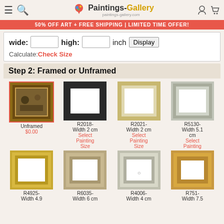Paintings-Gallery paintings-gallery.com
50% OFF ART + FREE SHIPPING | LIMITED TIME OFFER!
wide: [input] high: [input] inch Display
Calculate: Check Size
Step 2: Framed or Unframed
[Figure (illustration): Grid of painting frame options: Unframed ($0.00), R2018-Width 2 cm (Select Painting Size), R2021-Width 2 cm (Select Painting Size), R5130-Width 5.1 cm (Select Painting), R4925-Width 4.9, R6035-Width 6 cm, R4006-Width 4 cm, R751-Width 7.5]